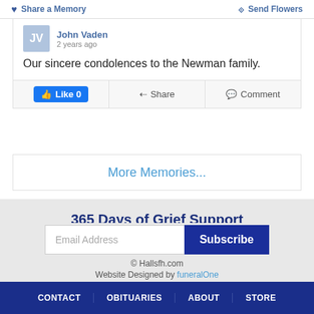Share a Memory | Send Flowers
John Vaden
2 years ago
Our sincere condolences to the Newman family.
Like 0 | Share | Comment
More Memories...
365 Days of Grief Support
Email Address [Subscribe]
© Hallsfh.com
Website Designed by funeralOne
CONTACT | OBITUARIES | ABOUT | STORE